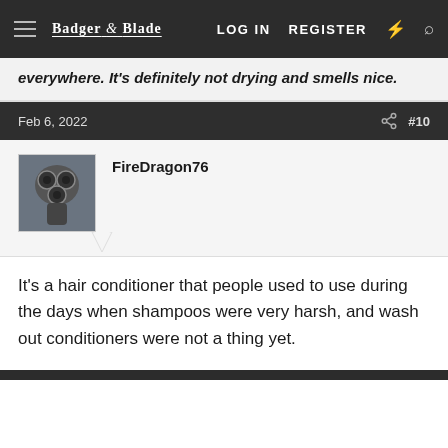Badger & Blade — LOG IN  REGISTER
everywhere. It's definitely not drying and smells nice.
Feb 6, 2022  #10
FireDragon76
It's a hair conditioner that people used to use during the days when shampoos were very harsh, and wash out conditioners were not a thing yet.